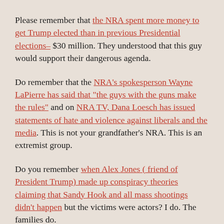Please remember that the NRA spent more money to get Trump elected than in previous Presidential elections– $30 million. They understood that this guy would support their dangerous agenda.
Do remember that the NRA's spokesperson Wayne LaPierre has said that “the guys with the guns make the rules” and on NRA TV, Dana Loesch has issued statements of hate and violence against liberals and the media. This is not your grandfather's NRA. This is an extremist group.
Do you remember when Alex Jones ( friend of President Trump) made up conspiracy theories claiming that Sandy Hook and all mass shootings didn’t happen but the victims were actors? I do. The families do.
This is more than despicable. It is so disgusting there are hardly words and it adds to the hate and dangerous rhetoric exhibited by some who have loud voices in the media who should be hiding in a basement somewhere.